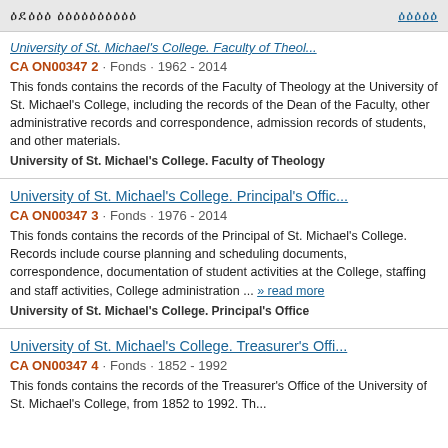ዕደዕዕዕ ዕዕዕዕዕዕዕዕዕዕ   ዕዕዕዕዕ
University of St. Michael's College. Faculty of Theol...
CA ON00347 2 · Fonds · 1962 - 2014
This fonds contains the records of the Faculty of Theology at the University of St. Michael's College, including the records of the Dean of the Faculty, other administrative records and correspondence, admission records of students, and other materials.
University of St. Michael's College. Faculty of Theology
University of St. Michael's College. Principal's Offic...
CA ON00347 3 · Fonds · 1976 - 2014
This fonds contains the records of the Principal of St. Michael's College. Records include course planning and scheduling documents, correspondence, documentation of student activities at the College, staffing and staff activities, College administration ... » read more
University of St. Michael's College. Principal's Office
University of St. Michael's College. Treasurer's Offi...
CA ON00347 4 · Fonds · 1852 - 1992
This fonds contains the records of the Treasurer's Office of the University of St. Michael's College, from 1852 to 1992. Th...